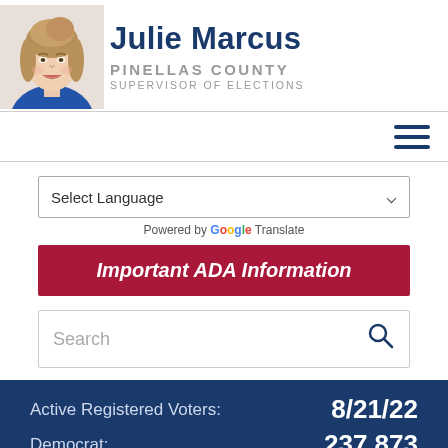[Figure (photo): Headshot photo of Julie Marcus, a woman with blonde/brown hair wearing a blue top, smiling]
Julie Marcus
PINELLAS COUNTY SUPERVISOR OF ELECTIONS
[Figure (other): Hamburger menu icon (three horizontal dark blue lines)]
Select Language
Powered by Google Translate
Important ADA Information
Search
Active Registered Voters: 8/21/22 Democrat: 237,873